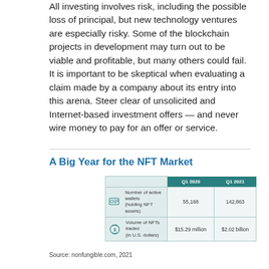All investing involves risk, including the possible loss of principal, but new technology ventures are especially risky. Some of the blockchain projects in development may turn out to be viable and profitable, but many others could fail. It is important to be skeptical when evaluating a claim made by a company about its entry into this arena. Steer clear of unsolicited and Internet-based investment offers — and never wire money to pay for an offer or service.
A Big Year for the NFT Market
|  | Q1 2020 | Q1 2021 |
| --- | --- | --- |
| Number of active wallets (holding NFT assets) | 55,168 | 142,863 |
| Volume of NFTs traded (in U.S. dollars) | $15.29 million | $2.02 billion |
Source: nonfungible.com, 2021